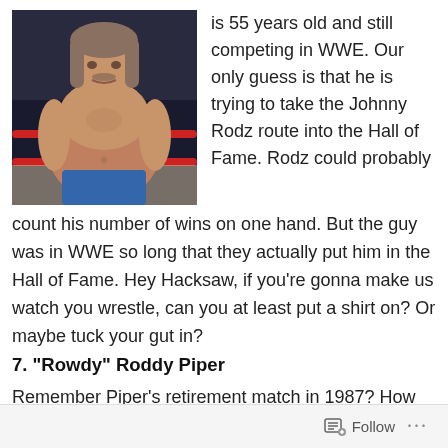[Figure (photo): A shirtless, heavyset man with long hair wearing blue trunks, standing in a wrestling ring with red ropes visible in the background.]
is 55 years old and still competing in WWE. Our only guess is that he is trying to take the Johnny Rodz route into the Hall of Fame. Rodz could probably count his number of wins on one hand. But the guy was in WWE so long that they actually put him in the Hall of Fame. Hey Hacksaw, if you’re gonna make us watch you wrestle, can you at least put a shirt on? Or maybe tuck your gut in?
7. “Rowdy” Roddy Piper
Remember Piper’s retirement match in 1987? How about the hundreds of matches he competed in over the
Follow ...